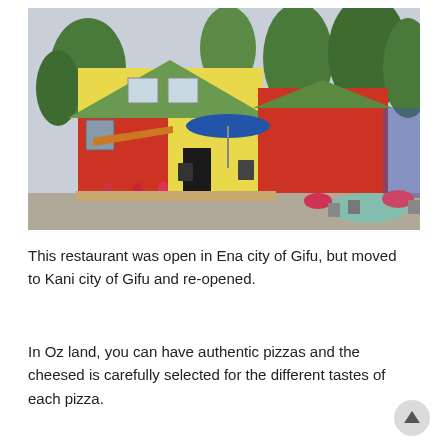[Figure (photo): A colorful restaurant building with yellow and red siding, green roof, a blue umbrella on the porch, flowers and plants in front, surrounded by trees. Gravel parking area in front.]
This restaurant was open in Ena city of Gifu, but moved to Kani city of Gifu and re-opened.
In Oz land, you can have authentic pizzas and the cheesed is carefully selected for the different tastes of each pizza.